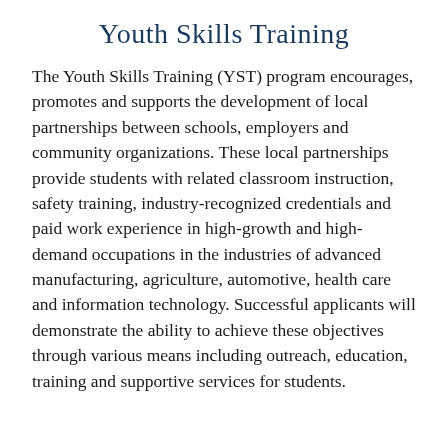Youth Skills Training
The Youth Skills Training (YST) program encourages, promotes and supports the development of local partnerships between schools, employers and community organizations. These local partnerships provide students with related classroom instruction, safety training, industry-recognized credentials and paid work experience in high-growth and high-demand occupations in the industries of advanced manufacturing, agriculture, automotive, health care and information technology. Successful applicants will demonstrate the ability to achieve these objectives through various means including outreach, education, training and supportive services for students.